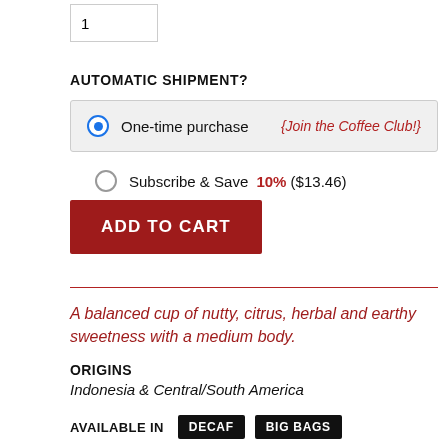1
AUTOMATIC SHIPMENT?
One-time purchase  {Join the Coffee Club!}
Subscribe & Save 10% ($13.46)
ADD TO CART
A balanced cup of nutty, citrus, herbal and earthy sweetness with a medium body.
ORIGINS
Indonesia & Central/South America
AVAILABLE IN  DECAF  BIG BAGS